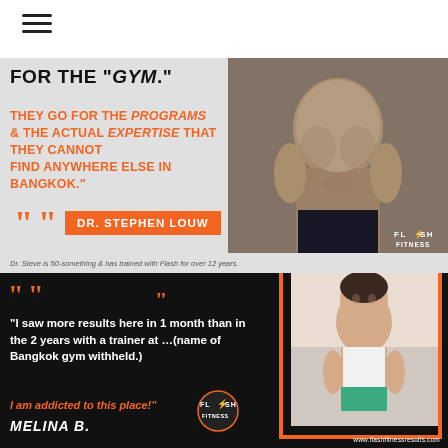[Figure (other): Hamburger menu icon in white navigation bar]
FOR THE “GYM.”
THEY GO FOR THE PROGRAMS & THE ACTUAL EXPERTISE THAT THEY CANNOT FIND ANYWHERE ELSE IN BANGKOK.”
DR. STEPHEN LOUW
Dr. Steve is 50-something & has trained with Flash for over 12 years.
[Figure (photo): Muscular shirtless male fitness model photo on grey background]
[Figure (logo): Flash Fitness logo with lightning bolt]
“I saw more results here in 1 month than in the 2 years with a trainer at …(name of Bangkok gym withheld.)
I am addicted to this place!”
MELINA B.
[Figure (photo): Female fitness model smiling and flexing in gym setting]
[Figure (logo): Flash Fitness logo with lightning bolt]
www.flashfitnessresults.com